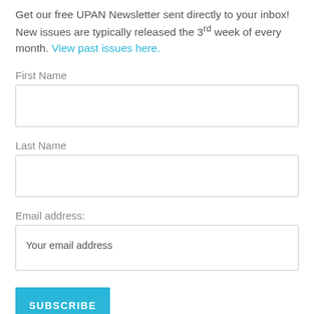Get our free UPAN Newsletter sent directly to your inbox! New issues are typically released the 3rd week of every month. View past issues here.
First Name
Last Name
Email address:
Your email address
SUBSCRIBE